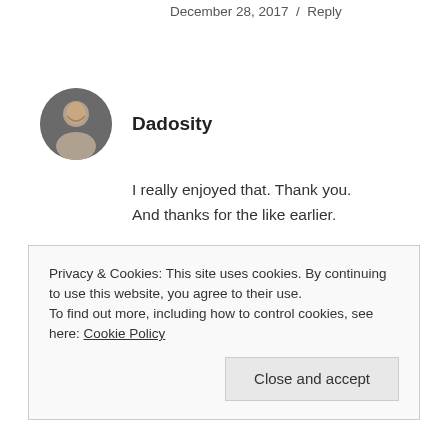December 28, 2017  /  Reply
Dadosity
I really enjoyed that. Thank you.
And thanks for the like earlier.
December 28, 2017  /  Reply
Privacy & Cookies: This site uses cookies. By continuing to use this website, you agree to their use.
To find out more, including how to control cookies, see here: Cookie Policy
Close and accept